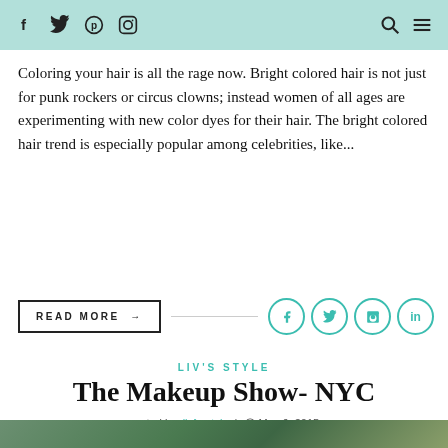f  Twitter  Pinterest  Instagram  [search] [menu]
Coloring your hair is all the rage now. Bright colored hair is not just for punk rockers or circus clowns; instead women of all ages are experimenting with new color dyes for their hair. The bright colored hair trend is especially popular among celebrities, like...
READ MORE →
LIV'S STYLE
The Makeup Show- NYC
posted by: livforstyle  |  ⊙  May 6, 2015